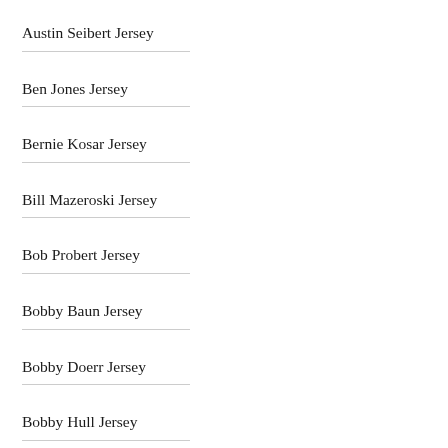Austin Seibert Jersey
Ben Jones Jersey
Bernie Kosar Jersey
Bill Mazeroski Jersey
Bob Probert Jersey
Bobby Baun Jersey
Bobby Doerr Jersey
Bobby Hull Jersey
Bobby Wagner Jersey